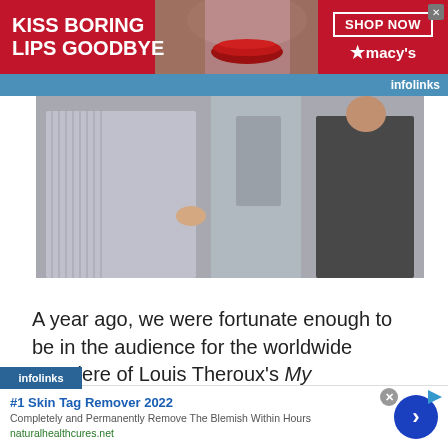[Figure (photo): Macy's advertisement banner: red background with text 'KISS BORING LIPS GOODBYE', a woman's face with red lips in the center, and a 'SHOP NOW' button with Macy's star logo on the right]
[Figure (photo): Movie still showing two people in what appears to be a hallway or bathroom setting - one person in a striped shirt on the left and another in dark clothing on the right]
A year ago, we were fortunate enough to be in the audience for the worldwide premiere of Louis Theroux's My Scientology Movie at the London Film Festival. We thought it was hilarious. Louis has such an amazing sense of timing, and his
[Figure (photo): Infolinks advertisement overlay with label 'infolinks' in blue bar at bottom left]
[Figure (photo): Bottom advertisement: '#1 Skin Tag Remover 2022 - Completely and Permanently Remove The Blemish Within Hours' from naturalhealthcures.net with a blue circular arrow button]